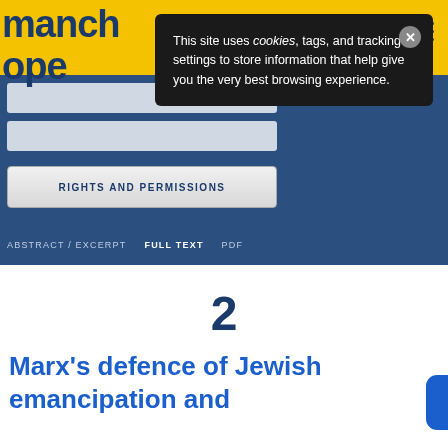manchester open
[Figure (screenshot): Cookie consent popup overlay with text: This site uses cookies, tags, and tracking settings to store information that help give you the very best browsing experience. Close button (X) in top right.]
RIGHTS AND PERMISSIONS
ABSTRACT / EXCERPT   FULL TEXT   PDF
2
Marx's defence of Jewish emancipation and